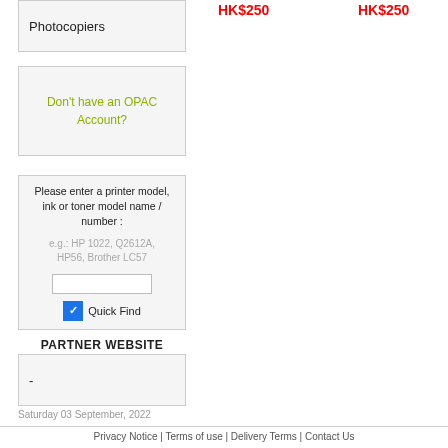HK$250
HK$250
Photocopiers
Don't have an OPAC Account?
Please enter a printer model, ink or toner model name / number :
e.g.: HP 1022, Q2612A, HP56, Brother LC57
Quick Find
PARTNER WEBSITE
-
Saturday 03 September, 2022
Privacy Notice | Terms of use | Delivery Terms | Contact Us